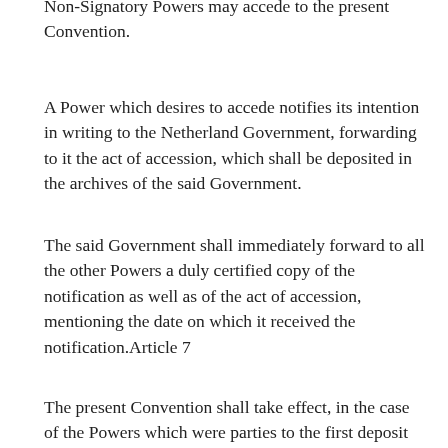Non-Signatory Powers may accede to the present Convention.
A Power which desires to accede notifies its intention in writing to the Netherland Government, forwarding to it the act of accession, which shall be deposited in the archives of the said Government.
The said Government shall immediately forward to all the other Powers a duly certified copy of the notification as well as of the act of accession, mentioning the date on which it received the notification.Article 7
The present Convention shall take effect, in the case of the Powers which were parties to the first deposit of ratifications, sixty days after the date of the Protocol recording such deposit,[3] and, in the case of the Powers which shall ratify subsequently or which shall accede, sixty days after the notification of their ratification or of their accession has been received by